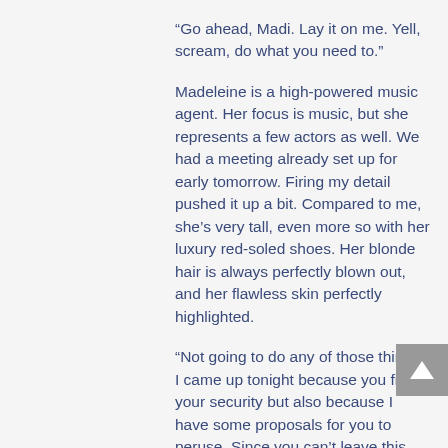“Go ahead, Madi. Lay it on me. Yell, scream, do what you need to.”
Madeleine is a high-powered music agent. Her focus is music, but she represents a few actors as well. We had a meeting already set up for early tomorrow. Firing my detail pushed it up a bit. Compared to me, she’s very tall, even more so with her luxury red-soled shoes. Her blonde hair is always perfectly blown out, and her flawless skin perfectly highlighted.
“Not going to do any of those things. I came up tonight because you fired your security but also because I have some proposals for you to peruse. Since you can’t leave this room, I figured you might want something to do. Here are a few proposals: a new studio album, a book deal, a streaming service movie,